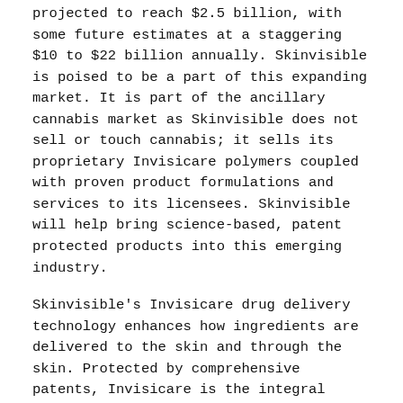projected to reach $2.5 billion, with some future estimates at a staggering $10 to $22 billion annually. Skinvisible is poised to be a part of this expanding market. It is part of the ancillary cannabis market as Skinvisible does not sell or touch cannabis; it sells its proprietary Invisicare polymers coupled with proven product formulations and services to its licensees. Skinvisible will help bring science-based, patent protected products into this emerging industry.
Skinvisible's Invisicare drug delivery technology enhances how ingredients are delivered to the skin and through the skin. Protected by comprehensive patents, Invisicare is the integral component of every formula developed by Skinvisible, including its cannabis product line. The Invisicare patents protect all Skinvisible formulations from duplication in the marketplace.
Skinvisible, Inc., through its wholly owned subsidiary, Skinvisible Pharmaceuticals, Inc., is an R&D pharmaceutical company that develops and markets a